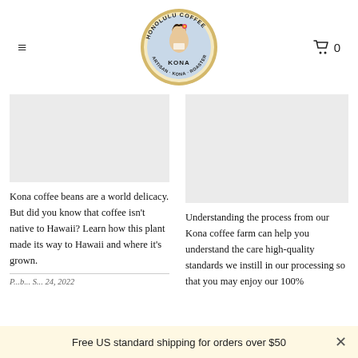[Figure (logo): Honolulu Coffee Artisan Kona Roaster circular logo with illustration of Hawaiian woman holding a coffee cup]
[Figure (photo): Left column image placeholder (light gray)]
[Figure (photo): Right column image placeholder (light gray)]
Kona coffee beans are a world delicacy. But did you know that coffee isn't native to Hawaii? Learn how this plant made its way to Hawaii and where it's grown.
Understanding the process from our Kona coffee farm can help you understand the care high-quality standards we instill in our processing so that you may enjoy our 100%
Free US standard shipping for orders over $50